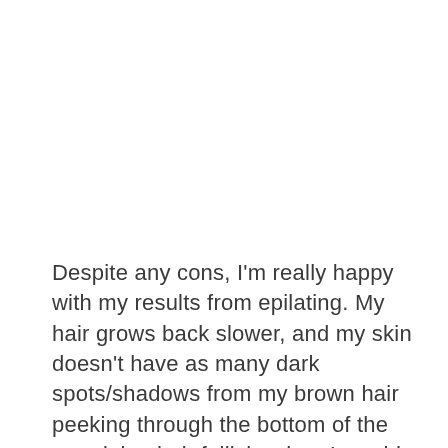Despite any cons, I'm really happy with my results from epilating. My hair grows back slower, and my skin doesn't have as many dark spots/shadows from my brown hair peeking through the bottom of the remaining hair follicle when I would only shave. This has been especially true for my armpits, which are now softer and lighter in color since I don't have the dark dots anymore that come out of